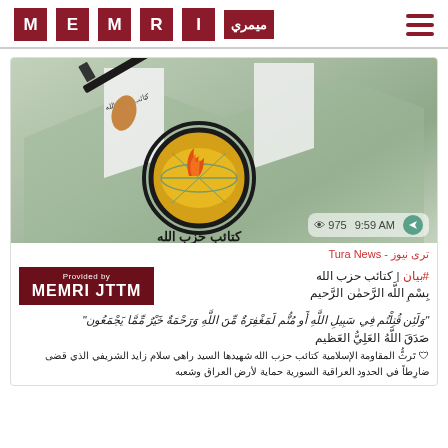MEMRI (logo with Arabic text)
[Figure (screenshot): Telegram post screenshot showing Kata'ib Hezbollah emblem (globe with flame and rifle) against green background with Arabic text, view count 975, time 9:59 AM]
ترى نيوز - Tura News
[Figure (logo): Provided by MEMRI JTTM badge (dark red background, white text)]
#بيان | كتائب حزب الله
بسم الله الرَّحمٰن الرَّحيم
"وَلَئِن قُتِلْتُم في سَبِيل اللَّه أَو مُتُّم لَمَغْفِرَةٌ مِن اللَّه وَرَحْمَةٌ خَيرٌ مِمَّا يَجْمَعُون"
صَدَق اللَّه العَلِيُّ العَظيم
🛡 ترقُّ المقاومة الإسلامية كتائب حزب الله شهيدها السيد راهي سلام زايد الشريفي الذي قضى ضرابطا في الحدود العراقية السورية حماية لأرض العراق وشعبه